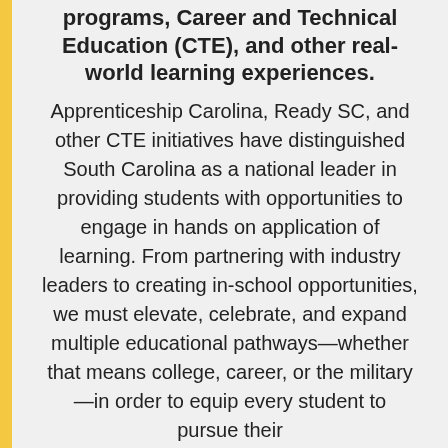programs, Career and Technical Education (CTE), and other real-world learning experiences. Apprenticeship Carolina, Ready SC, and other CTE initiatives have distinguished South Carolina as a national leader in providing students with opportunities to engage in hands on application of learning. From partnering with industry leaders to creating in-school opportunities, we must elevate, celebrate, and expand multiple educational pathways—whether that means college, career, or the military—in order to equip every student to pursue their